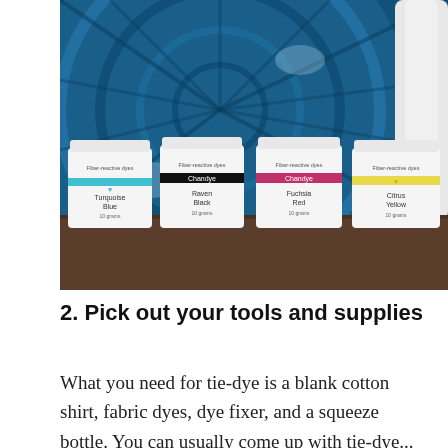[Figure (photo): Four white jars of fiber-reactive dyes labeled Turquoise Blue, Raven Black, Fuchsia Red, and Citrus Yellow, lined up on a dark wooden surface in front of a blue tie-dye fabric background. A clear squeeze bottle is partially visible on the right.]
2. Pick out your tools and supplies
What you need for tie-dye is a blank cotton shirt, fabric dyes, dye fixer, and a squeeze bottle. You can usually come up with tie-dye...